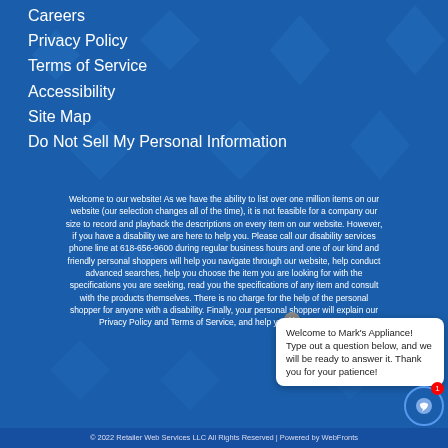Careers
Privacy Policy
Terms of Service
Accessibility
Site Map
Do Not Sell My Personal Information
Welcome to our website! As we have the ability to list over one million items on our website (our selection changes all of the time), it is not feasible for a company our size to record and playback the descriptions on every item on our website. However, if you have a disability we are here to help you. Please call our disability services phone line at 618-656-9600 during regular business hours and one of our kind and friendly personal shoppers will help you navigate through our website, help conduct advanced searches, help you choose the item you are looking for with the specifications you are seeking, read you the specifications of any item and consult with you about the products themselves. There is no charge for the help of this personal shopper for anyone with a disability. Finally, your personal shopper will explain our Privacy Policy and Terms of Service, and help you place an order if you so desire.
Welcome to Mark's Appliance! Type out a question below, and we will be ready to answer it. Thank you for your patience!
© 2022 Retailer Web Services LLC All Rights Reserved | Powered by WebFronts